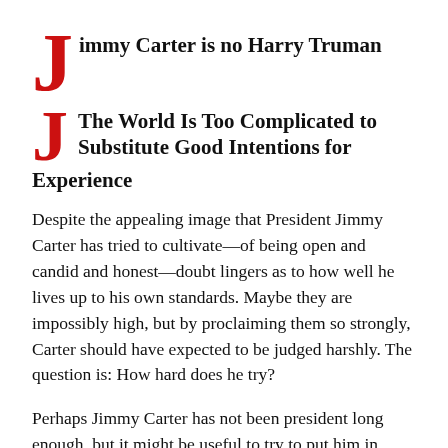Jimmy Carter is no Harry Truman
The World Is Too Complicated to Substitute Good Intentions for Experience
Despite the appealing image that President Jimmy Carter has tried to cultivate—of being open and candid and honest—doubt lingers as to how well he lives up to his own standards. Maybe they are impossibly high, but by proclaiming them so strongly, Carter should have expected to be judged harshly. The question is: How hard does he try?
Perhaps Jimmy Carter has not been president long enough, but it might be useful to try to put him in